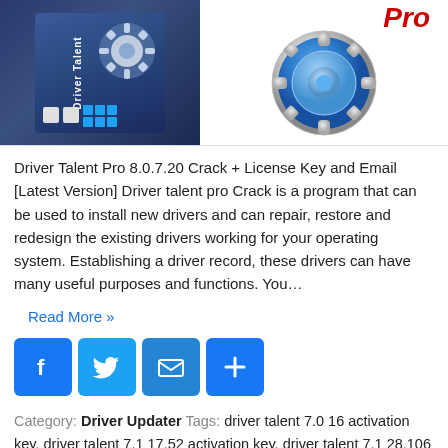[Figure (screenshot): Product image banner showing Driver Talent Pro box art on the left (dark blue box with gear icon) and a blue gear/settings icon logo on the right with a red 'Pro' badge text at top]
Driver Talent Pro 8.0.7.20 Crack + License Key and Email [Latest Version] Driver talent pro Crack is a program that can be used to install new drivers and can repair, restore and redesign the existing drivers working for your operating system. Establishing a driver record, these drivers can have many useful purposes and functions. You…
Read More »
[Figure (infographic): Social share buttons: Facebook (f), Twitter (bird), Email (envelope), Share (+) — all in blue square rounded buttons]
Category: Driver Updater  Tags: driver talent 7.0 16 activation key, driver talent 7.1 17.52 activation key, driver talent 7.1 28.106 activation key, driver talent 7.1 6.26 activation key,